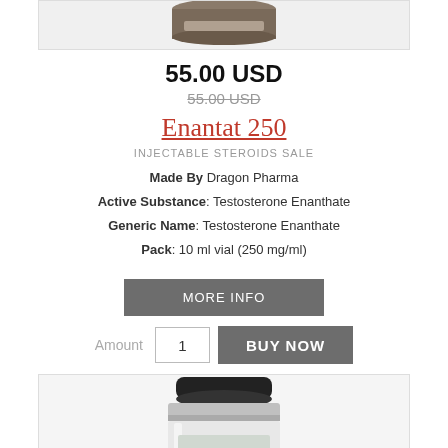[Figure (photo): Top portion of a pharmaceutical vial, cropped, showing the cap area against a white background]
55.00 USD
55.00 USD (strikethrough/old price)
Enantat 250
INJECTABLE STEROIDS SALE
Made By Dragon Pharma
Active Substance: Testosterone Enanthate
Generic Name: Testosterone Enanthate
Pack: 10 ml vial (250 mg/ml)
MORE INFO
Amount 1 BUY NOW
[Figure (photo): Top portion of a pharmaceutical vial showing the metallic cap and rubber stopper, partial view]